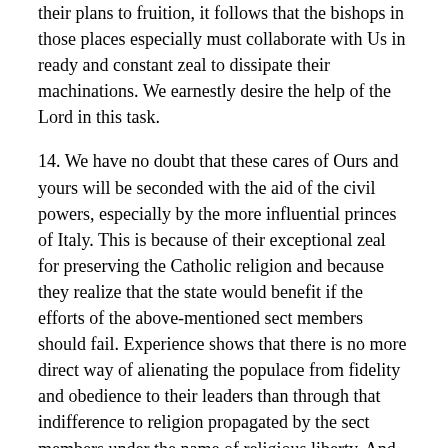their plans to fruition, it follows that the bishops in those places especially must collaborate with Us in ready and constant zeal to dissipate their machinations. We earnestly desire the help of the Lord in this task.
14. We have no doubt that these cares of Ours and yours will be seconded with the aid of the civil powers, especially by the more influential princes of Italy. This is because of their exceptional zeal for preserving the Catholic religion and because they realize that the state would benefit if the efforts of the above-mentioned sect members should fail. Experience shows that there is no more direct way of alienating the populace from fidelity and obedience to their leaders than through that indifference to religion propagated by the sect members under the name of religious liberty. And this not even the members of the Christian League conceal: although they profess themselves strangers to inciting sedition, they advocate allowing every man of the masses to interpret the Bible as he likes. As complete liberty of conscience, as they call it, spreads among the Italian people, political liberty will result of its own accord.
15. But what is truly first and foremost, let Us raise Our hands together to God and let Us commend to him, with the humility of